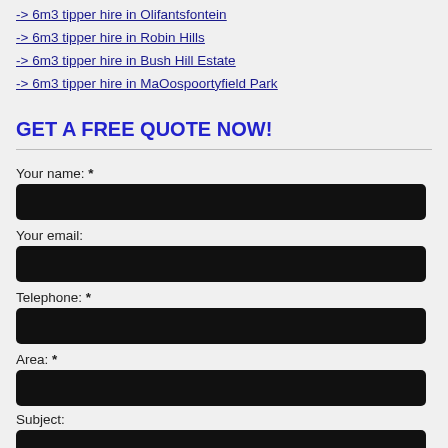-> 6m3 tipper hire in Olifantsfontein
-> 6m3 tipper hire in Robin Hills
-> 6m3 tipper hire in Bush Hill Estate
-> 6m3 tipper hire in MaOospoortyfield Park
GET A FREE QUOTE NOW!
Your name: *
Your email:
Telephone: *
Area: *
Subject: